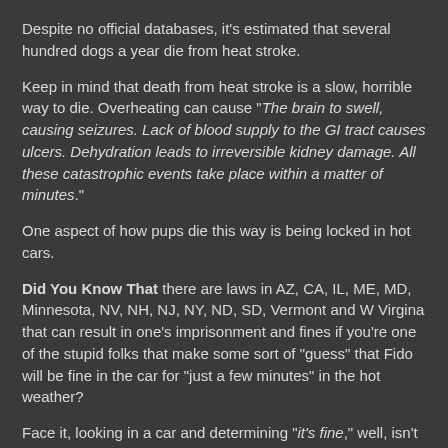Despite no official databases, it's estimated that several hundred dogs a year die from heat stroke.
Keep in mind that death from heat stroke is a slow, horrible way to die. Overheating can cause "The brain to swell, causing seizures. Lack of blood supply to the GI tract causes ulcers. Dehydration leads to irreversible kidney damage. All these catastrophic events take place within a matter of minutes."
One aspect of how pups die this way is being locked in hot cars.
Did You Know That there are laws in AZ, CA, IL, ME, MD, Minnesota, NV, NH, NJ, NY, ND, SD, Vermont and W Virgina that can result in one's imprisonment and fines if you're one of the stupid folks that make some sort of "guess" that Fido will be fine in the car for "just a few minutes" in the hot weather?
Face it, looking in a car and determining "it's fine," well, isn't